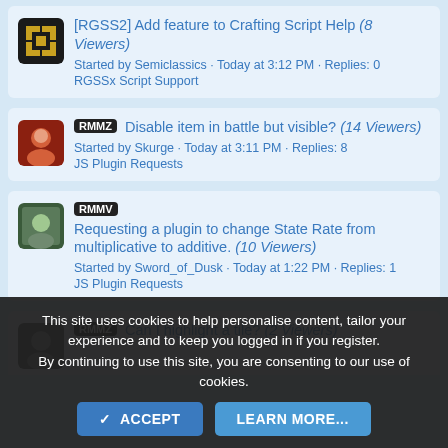[RGSS2] Add feature to Crafting Script Help (8 Viewers) Started by Semiclassics · Today at 3:12 PM · Replies: 0 RGSSx Script Support
RMMZ Disable item in battle but visible? (14 Viewers) Started by Skurge · Today at 3:11 PM · Replies: 8 JS Plugin Requests
RMMV Requesting a plugin to change State Rate from multiplicative to additive. (10 Viewers) Started by Sword_of_Dusk · Today at 1:22 PM · Replies: 1 JS Plugin Requests
RMMZ Can I highlight a tile? (2 Viewers)
This site uses cookies to help personalise content, tailor your experience and to keep you logged in if you register. By continuing to use this site, you are consenting to our use of cookies.